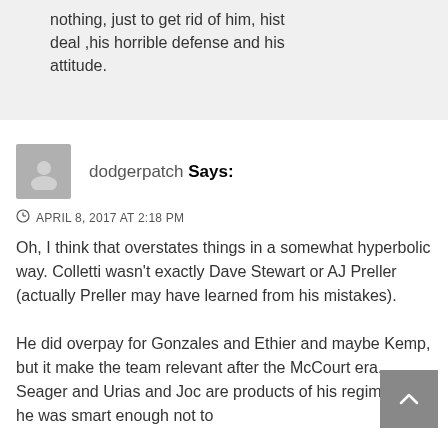nothing, just to get rid of him, hist deal ,his horrible defense and his attitude.
dodgerpatch Says:
APRIL 8, 2017 AT 2:18 PM
Oh, I think that overstates things in a somewhat hyperbolic way. Colletti wasn't exactly Dave Stewart or AJ Preller (actually Preller may have learned from his mistakes).
He did overpay for Gonzales and Ethier and maybe Kemp, but it make the team relevant after the McCourt era. Seager and Urias and Joc are products of his regime, and he was smart enough not to